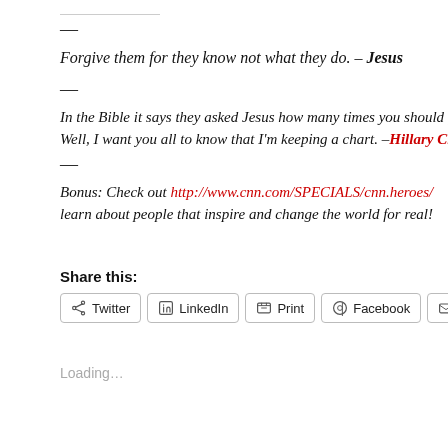—
Forgive them for they know not what they do. – Jesus
—
In the Bible it says they asked Jesus how many times you should fo... Well, I want you all to know that I'm keeping a chart. –Hillary Clinton
—
Bonus: Check out http://www.cnn.com/SPECIALS/cnn.heroes/ learn about people that inspire and change the world for real!
Share this:
Loading...